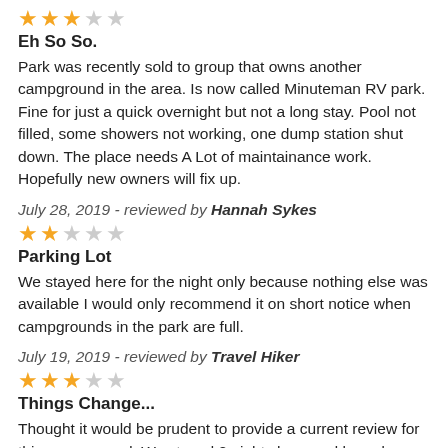[Figure (other): 3 out of 5 stars rating (3 filled stars, 2 empty)]
Eh So So.
Park was recently sold to group that owns another campground in the area. Is now called Minuteman RV park. Fine for just a quick overnight but not a long stay. Pool not filled, some showers not working, one dump station shut down. The place needs A Lot of maintainance work. Hopefully new owners will fix up.
July 28, 2019 - reviewed by Hannah Sykes
[Figure (other): 2 out of 5 stars rating (2 filled stars, 3 empty)]
Parking Lot
We stayed here for the night only because nothing else was available I would only recommend it on short notice when campgrounds in the park are full.
July 19, 2019 - reviewed by Travel Hiker
[Figure (other): 3 out of 5 stars rating (3 filled stars, 2 empty)]
Things Change...
Thought it would be prudent to provide a current review for this campground. We stayed 2 nights here and based on earlier, and aged reviews we were concerned. Well we found the CG pretty much ok. Roads were crushed stone and